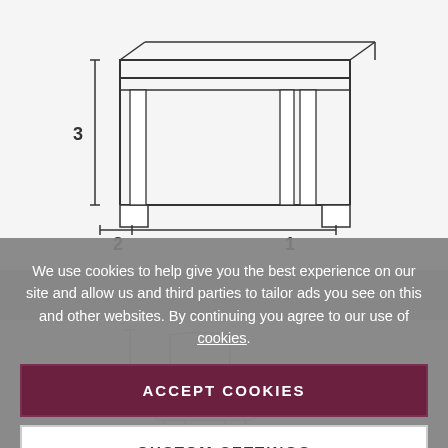[Figure (schematic): Line drawing of a table/desk with dimension labels: 1 (width), 2 (depth/left), 3 (height). The table is shown in isometric-style outline with legs.]
We use cookies to help give you the best experience on our site and allow us and third parties to tailor ads you see on this and other websites. By continuing you agree to our use of cookies.
ACCEPT COOKIES
CUSTOM SETTINGS